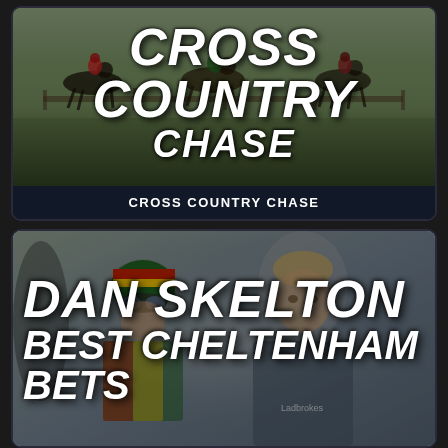[Figure (photo): Horse racing photo background with text overlay reading CROSS COUNTRY CHASE in large bold white italic letters, with label bar below reading CROSS COUNTRY CHASE]
[Figure (photo): Photo of jockey in green/red/yellow kit with helmet and goggles beside a blond man (Dan Skelton) wearing Ladbrokes branded jacket, with bold white italic text overlay reading DAN SKELTON BEST CHELTENHAM BETS]